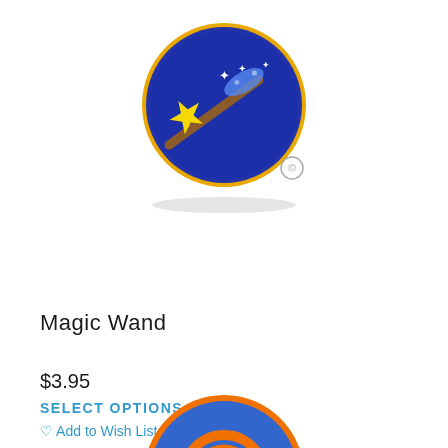[Figure (photo): Circular embroidered badge with gold/yellow border on dark blue background, featuring a magic wand with a yellow star tip shooting sparkles and snowflakes to the right. Brown wand stick visible.]
Magic Wand
$3.95
SELECT OPTIONS
♡ Add to Wish List
[Figure (photo): Circular embroidered badge with orange border on blue background, showing an orange spiral/swirl design. Only the top portion is visible.]